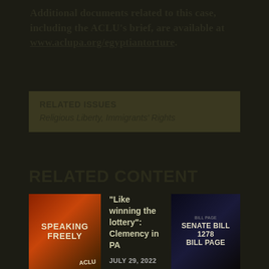Additional documents related to this case, including the ACLU's brief, are available at www.aclupa.org/egyptiantorture.
RELATED ISSUES
Religious Liberty, Immigrants' Rights
RELATED CONTENT
[Figure (photo): Thumbnail image with text 'SPEAKING FREELY' in bold white/cream letters on an orange-red background with ACLU branding]
"Like winning the lottery": Clemency in PA JULY 29, 2022
[Figure (photo): Dark blue/black thumbnail image with text 'SENATE BILL 1278 BILL PAGE']